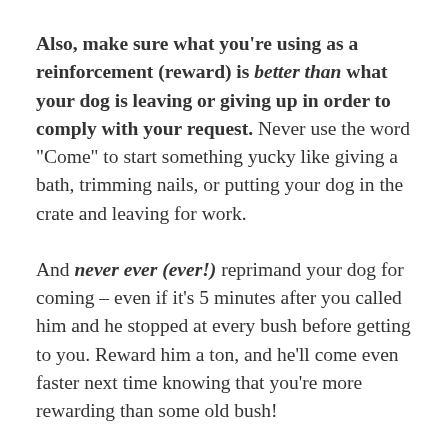Also, make sure what you're using as a reinforcement (reward) is better than what your dog is leaving or giving up in order to comply with your request. Never use the word "Come" to start something yucky like giving a bath, trimming nails, or putting your dog in the crate and leaving for work.
And never ever (ever!) reprimand your dog for coming – even if it's 5 minutes after you called him and he stopped at every bush before getting to you. Reward him a ton, and he'll come even faster next time knowing that you're more rewarding than some old bush!